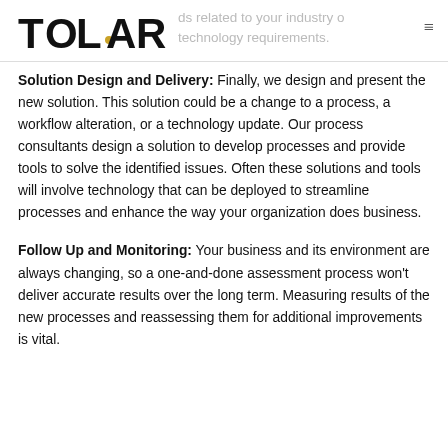TOLAR | …ds related to your industry o… technology requirements.
Solution Design and Delivery: Finally, we design and present the new solution. This solution could be a change to a process, a workflow alteration, or a technology update. Our process consultants design a solution to develop processes and provide tools to solve the identified issues. Often these solutions and tools will involve technology that can be deployed to streamline processes and enhance the way your organization does business.
Follow Up and Monitoring: Your business and its environment are always changing, so a one-and-done assessment process won't deliver accurate results over the long term. Measuring results of the new processes and reassessing them for additional improvements is vital.